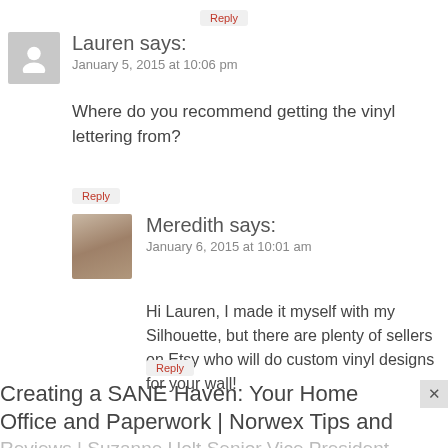Reply
Lauren says:
January 5, 2015 at 10:06 pm
Where do you recommend getting the vinyl lettering from?
Reply
Meredith says:
January 6, 2015 at 10:01 am
Hi Lauren, I made it myself with my Silhouette, but there are plenty of sellers on Etsy who will do custom vinyl designs for your wall!
Reply
Creating a SANE Haven: Your Home Office and Paperwork | Norwex Tips and Reviews | Suzanne Holt Senior Vice President Sales Leader | Independent Sales Consultant...